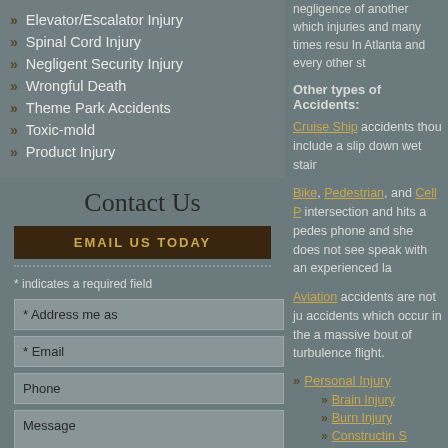Elevator/Escalator Injury
Spinal Cord Injury
Negligent Security Injury
Wrongful Death
Theme Park Accidents
Toxic-mold
Product Injury
Contact Us
EMAIL US TODAY
* indicates a required field
* Address me as
* Email
Phone
Message
negligence of another which injuries and many times resu In Atlanta and every other st
Other types of Accidents:
Cruise Ship accidents though include a slip down wet stair
Bike, Pedestrian, and Cell P intersection and hits a pedes phone and she does not see speak with an experienced la
Aviation accidents are not ju accidents which occur in the a massive bout of turbulence flight.
Personal Injury
Brain Injury
Burn Injury
Constructin S
Catastrophic
Child Injury